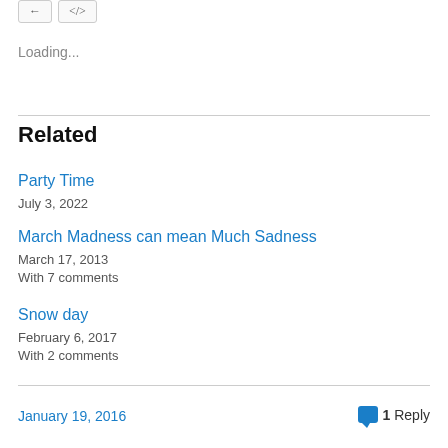Loading...
Related
Party Time
July 3, 2022
March Madness can mean Much Sadness
March 17, 2013
With 7 comments
Snow day
February 6, 2017
With 2 comments
January 19, 2016 | 1 Reply